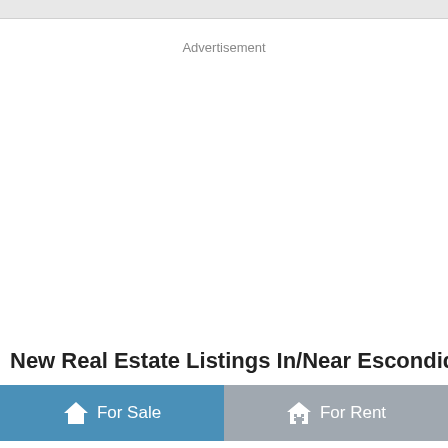Advertisement
New Real Estate Listings In/Near Escondido
For Sale | For Rent